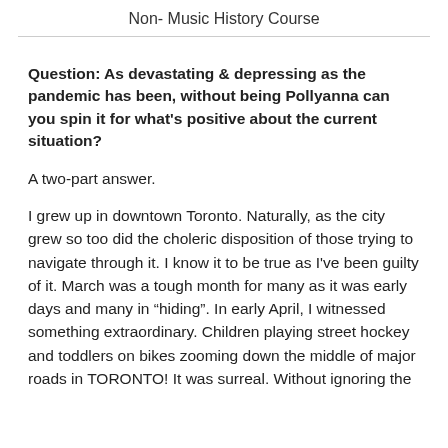Non- Music History Course
Question:  As devastating & depressing as the pandemic has been, without being Pollyanna can you spin it for what's positive about the current situation?
A two-part answer.
I grew up in downtown Toronto. Naturally, as the city grew so too did the choleric disposition of those trying to navigate through it. I know it to be true as I've been guilty of it. March was a tough month for many as it was early days and many in “hiding”. In early April, I witnessed something extraordinary. Children playing street hockey and toddlers on bikes zooming down the middle of major roads in TORONTO!  It was surreal. Without ignoring the